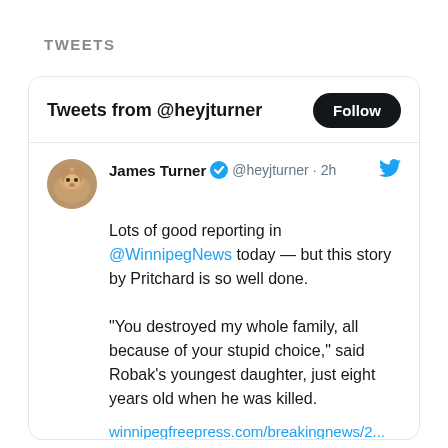TWEETS
Tweets from @heyjturner
[Figure (screenshot): Twitter/X embedded tweet widget showing a tweet by James Turner (@heyjturner) posted 2h ago. The tweet reads: 'Lots of good reporting in @WinnipegNews today — but this story by Pritchard is so well done. "You destroyed my whole family, all because of your stupid choice," said Robak's youngest daughter, just eight years old when he was killed.' with a link to winnipegfreepress.com/breakingnews/2... and a preview card showing winnipegfreepress.com 'Frustrated judge hands' with a photo of a man.]